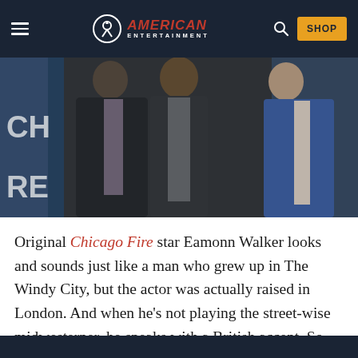American Entertainment — SHOP
[Figure (photo): Three men in suits posing at what appears to be a Chicago Fire event or premiere. Partial text 'CHI' and 'RE' visible on event backdrop.]
Original Chicago Fire star Eamonn Walker looks and sounds just like a man who grew up in The Windy City, but the actor was actually raised in London. And when he's not playing the street-wise midwesterner, he speaks with a British accent. So how does he nail the accent? He